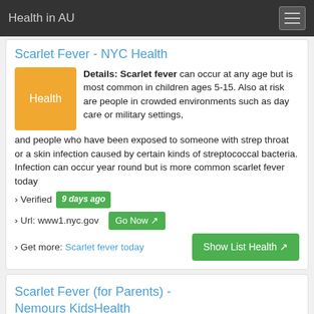Health in AU
Scarlet Fever - NYC Health
Details: Scarlet fever can occur at any age but is most common in children ages 5-15. Also at risk are people in crowded environments such as day care or military settings, and people who have been exposed to someone with strep throat or a skin infection caused by certain kinds of streptococcal bacteria. Infection can occur year round but is more common scarlet fever today
› Verified 9 days ago
› Url: www1.nyc.gov  Go Now
› Get more: Scarlet fever today    Show List Health
Scarlet Fever (for Parents) - Nemours KidsHealth